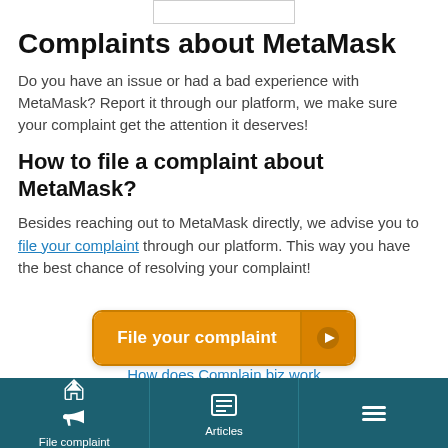[Figure (other): Search/input bar at top of page]
Complaints about MetaMask
Do you have an issue or had a bad experience with MetaMask? Report it through our platform, we make sure your complaint get the attention it deserves!
How to file a complaint about MetaMask?
Besides reaching out to MetaMask directly, we advise you to file your complaint through our platform. This way you have the best chance of resolving your complaint!
[Figure (other): Orange 'File your complaint' button with play arrow icon]
How does Complain.biz work
File complaint | Articles | Menu